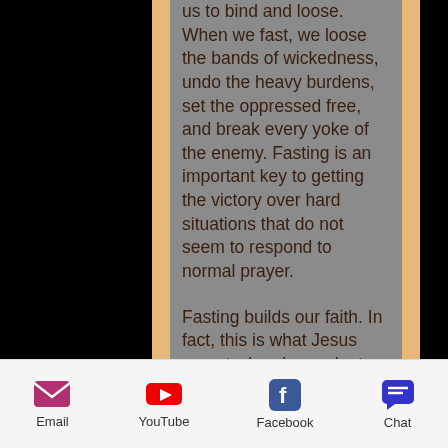us to bind and loose. When we fast, we loose the bands of wickedness, undo the heavy burdens, set the oppressed free, and break every yoke of the enemy. Fasting is an important key to getting the victory over hard situations that do not seem to respond to normal prayer.
Fasting builds our faith. In fact, this is what Jesus meant when he spoke to the disciples in Matthew 17:21 in answer to why they were not able to cast a demon out of a child. He said, “However, this kind does not go out except by prayer
Email   YouTube   Facebook   Chat